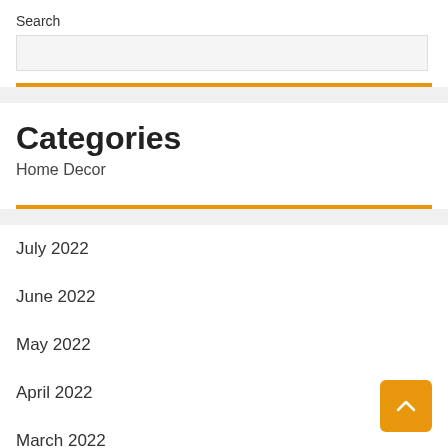Search
Categories
Home Decor
July 2022
June 2022
May 2022
April 2022
March 2022
February 2022